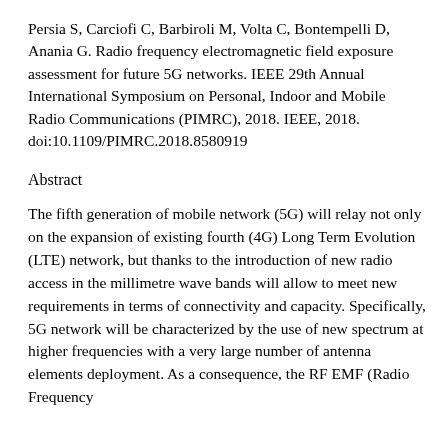Persia S, Carciofi C, Barbiroli M, Volta C, Bontempelli D, Anania G. Radio frequency electromagnetic field exposure assessment for future 5G networks. IEEE 29th Annual International Symposium on Personal, Indoor and Mobile Radio Communications (PIMRC), 2018. IEEE, 2018. doi:10.1109/PIMRC.2018.8580919
Abstract
The fifth generation of mobile network (5G) will relay not only on the expansion of existing fourth (4G) Long Term Evolution (LTE) network, but thanks to the introduction of new radio access in the millimetre wave bands will allow to meet new requirements in terms of connectivity and capacity. Specifically, 5G network will be characterized by the use of new spectrum at higher frequencies with a very large number of antenna elements deployment. As a consequence, the RF EMF (Radio Frequency